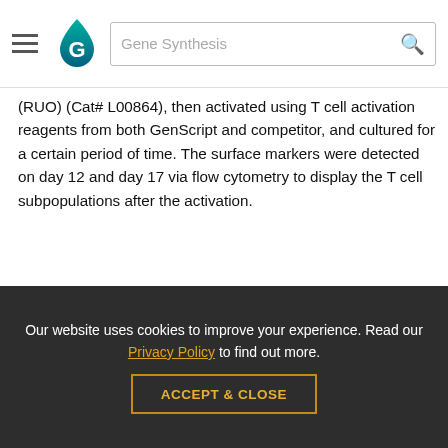Gene Synthesis [search bar with hamburger menu and GenScript logo]
(RUO) (Cat# L00864), then activated using T cell activation reagents from both GenScript and competitor, and cultured for a certain period of time. The surface markers were detected on day 12 and day 17 via flow cytometry to display the T cell subpopulations after the activation.
[Figure (bar-chart): Two grouped bar charts side by side. Left chart shows T cell subsets on Day 12 with y-axis from 60 to 100. Right chart shows T cell subsets on Day 17 with y-axis from 60 to 100. Both charts have blue bars for Enceed TM and orange/yellow bars for Competitor. The left chart shows a blue bar at approximately 57 (partially visible). The right chart y-axis shows values 60, 80, 100.]
Our website uses cookies to improve your experience. Read our Privacy Policy to find out more.
ACCEPT & CLOSE